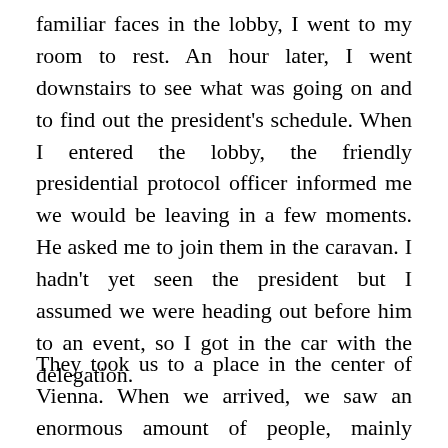familiar faces in the lobby, I went to my room to rest. An hour later, I went downstairs to see what was going on and to find out the president's schedule. When I entered the lobby, the friendly presidential protocol officer informed me we would be leaving in a few moments. He asked me to join them in the caravan. I hadn't yet seen the president but I assumed we were heading out before him to an event, so I got in the car with the delegation.
They took us to a place in the center of Vienna. When we arrived, we saw an enormous amount of people, mainly young